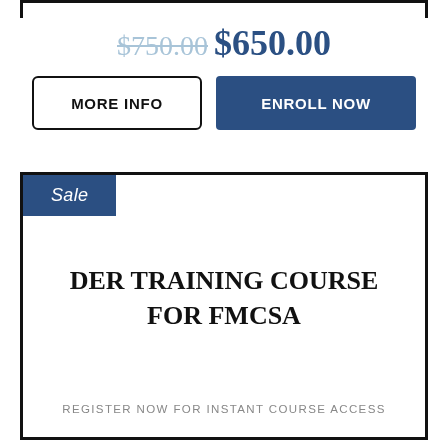$750.00 $650.00
MORE INFO
ENROLL NOW
Sale
DER TRAINING COURSE FOR FMCSA
REGISTER NOW FOR INSTANT COURSE ACCESS